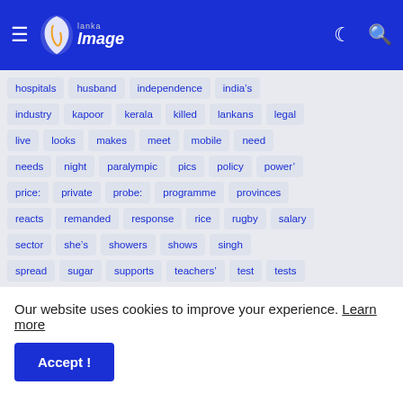Lanka Image - navigation bar with hamburger menu, logo, moon icon, search icon
hospitals
husband
independence
india&#8217;s
industry
kapoor
kerala
killed
lankans
legal
live
looks
makes
meet
mobile
need
needs
night
paralympic
pics
policy
power’
price:
private
probe:
programme
provinces
reacts
remanded
response
rice
rugby
salary
sector
she&#8217;s
showers
shows
singh
spread
sugar
supports
teachers’
test
tests
Our website uses cookies to improve your experience. Learn more
Accept !